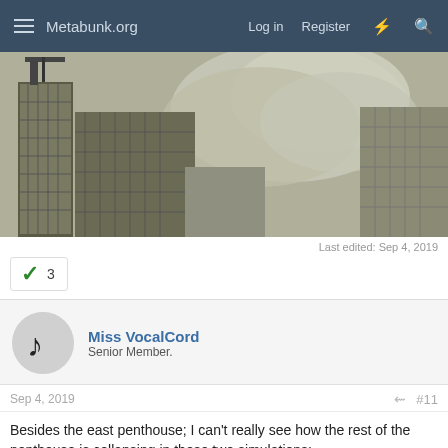Metabunk.org  Log in  Register
[Figure (photo): Aerial or elevated view of urban buildings with a large cloud of dust/smoke billowing from a collapsing structure, likely 9/11 related imagery.]
Last edited: Sep 4, 2019
✓ 3
Miss VocalCord
Senior Member.
Sep 4, 2019  #11
Besides the east penthouse; I can't really see how the rest of the penthouse is collapsing in these two simulations:
[Figure (screenshot): Partial bottom screenshot strip, appears to be beginning of a video or image related to building collapse simulation.]